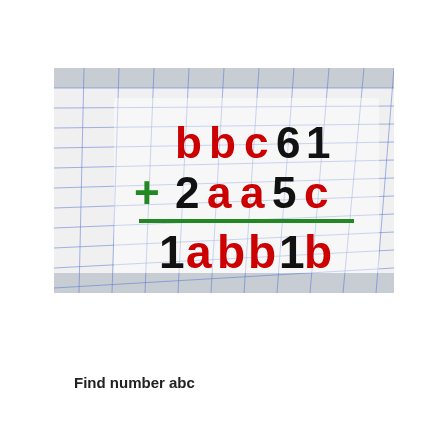[Figure (illustration): A photo of grid/graph paper with a math addition problem written on it. The problem shows: bbc61 + 2aa5c = 1abb1b, where 'b', 'c', 'a' letters are in red and digits are in black. The plus sign and underline are in green.]
Find number abc